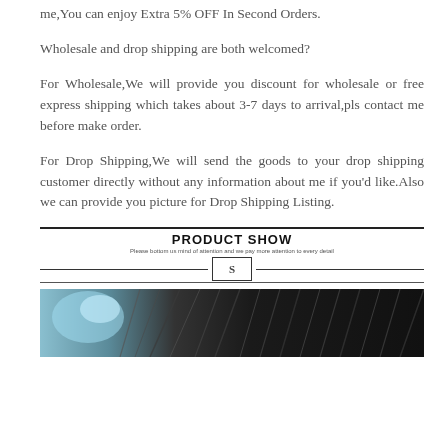me,You can enjoy Extra 5% OFF In Second Orders.
Wholesale and drop shipping are both welcomed?
For Wholesale,We will provide you discount for wholesale or free express shipping which takes about 3-7 days to arrival,pls contact me before make order.
For Drop Shipping,We will send the goods to your drop shipping customer directly without any information about me if you'd like.Also we can provide you picture for Drop Shipping Listing.
PRODUCT SHOW
[Figure (photo): Product photo showing a dark background with a partially visible subject, appearing to be a close-up of hair or fur texture with some bright highlight on the upper left.]